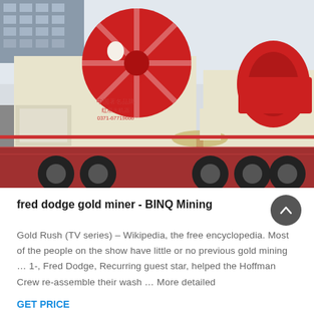[Figure (photo): Industrial mining washing machines (sand washers) with large red wheel mechanisms loaded on a flatbed truck, with Chinese text/branding on the side panels. Photo taken outdoors with buildings in background.]
fred dodge gold miner - BINQ Mining
Gold Rush (TV series) – Wikipedia, the free encyclopedia. Most of the people on the show have little or no previous gold mining … 1-, Fred Dodge, Recurring guest star, helped the Hoffman Crew re-assemble their wash … More detailed
GET PRICE